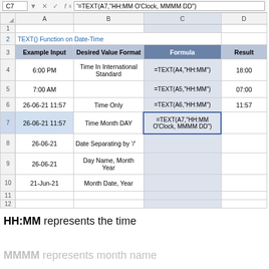[Figure (screenshot): Excel spreadsheet screenshot showing TEXT() Function on Date-Time with formula bar showing '=TEXT(A7,"HH:MM O'Clock, MMMM DD")' in cell C7. Table has columns: Example Input, Desired Value Format, Formula, Result. Rows show various date/time formatting examples.]
HH:MM represents the time
MMMM represents month name